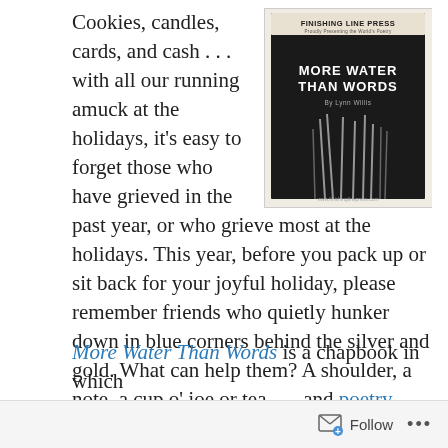Cookies, candles, cards, and cash . . . with all our running amuck at the holidays, it's easy to forget those who have grieved in the past year, or who grieve most at the holidays. This year, before you pack up or sit back for your joyful holiday, please remember friends who quietly hunker down in blue corners behind the silver and gold. What can help them? A shoulder, a note, a cup o' joe or tea . . . and poetry.
[Figure (photo): Book cover for 'More Water Than Words' published by Finishing Line Press, showing a dark cover with white text and an abstract illustration of grass or reeds.]
More Water Than Words is a chapbook in which
Follow ...